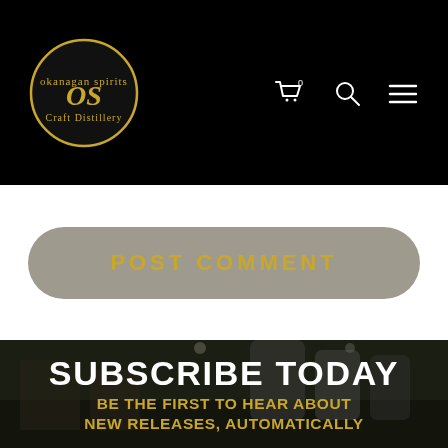[Figure (logo): Okanagan Spirits Craft Distillery logo — circular gold-bordered emblem with 'OS' script initials on black background]
[Figure (screenshot): Navigation bar with cart icon (with 0 badge), search icon, and hamburger menu on black background]
POST COMMENT
[Figure (photo): Distillery interior photo showing stainless steel tanks and equipment with dark overlay]
SUBSCRIBE TODAY
BE THE FIRST TO HEAR ABOUT NEW RELEASES, AUTOMATICALLY